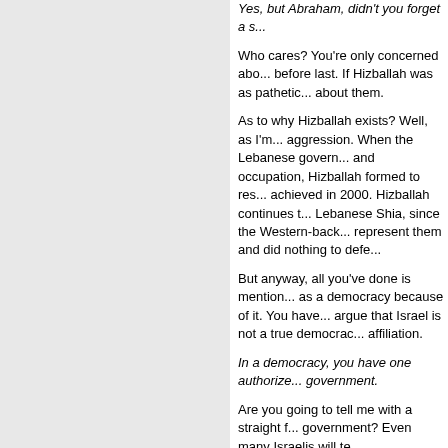Yes, but Abraham, didn't you forget a s...
Who cares? You're only concerned abo... before last. If Hizballah was as pathetic... about them.
As to why Hizballah exists? Well, as I'm... aggression. When the Lebanese govern... and occupation, Hizballah formed to res... achieved in 2000. Hizballah continues t... Lebanese Shia, since the Western-back... represent them and did nothing to defe...
But anyway, all you've done is mention... as a democracy because of it. You have... argue that Israel is not a true democrac... affiliation.
In a democracy, you have one authorize... government.
Are you going to tell me with a straight f... government? Even many Israelis will te...
Anyway, that is hardly the definition of a... bureaucratic army that is only accounta... democracy.
So what's your point?
The democracies of Lebanon, Palestine... "democracy" of Israel is flawed. But if yo... a vote of the people, they are all democ...
So stop trying to claim to be the only de...